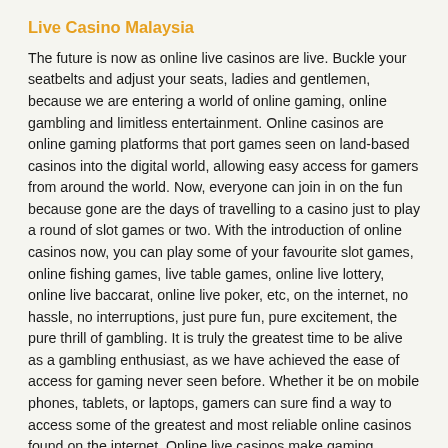Live Casino Malaysia
The future is now as online live casinos are live. Buckle your seatbelts and adjust your seats, ladies and gentlemen, because we are entering a world of online gaming, online gambling and limitless entertainment. Online casinos are online gaming platforms that port games seen on land-based casinos into the digital world, allowing easy access for gamers from around the world. Now, everyone can join in on the fun because gone are the days of travelling to a casino just to play a round of slot games or two. With the introduction of online casinos now, you can play some of your favourite slot games, online fishing games, live table games, online live lottery, online live baccarat, online live poker, etc, on the internet, no hassle, no interruptions, just pure fun, pure excitement, the pure thrill of gambling. It is truly the greatest time to be alive as a gambling enthusiast, as we have achieved the ease of access for gaming never seen before. Whether it be on mobile phones, tablets, or laptops, gamers can sure find a way to access some of the greatest and most reliable online casinos found on the internet. Online live casinos make gaming convenient, efficient, and less headache-inducing. This has caused a massive shift of gamers choosing to play on land-based casinos, to jumping on the ban...